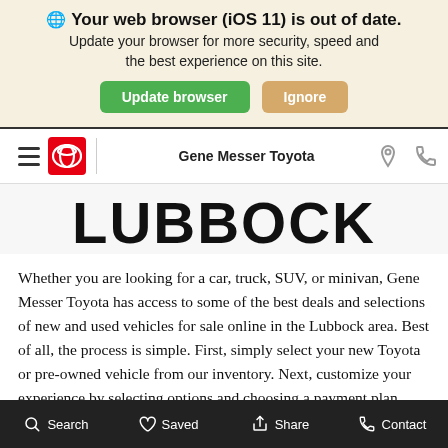🌐 Your web browser (iOS 11) is out of date. Update your browser for more security, speed and the best experience on this site.
Update browser | Ignore
Gene Messer Toyota
Lubbock
Whether you are looking for a car, truck, SUV, or minivan, Gene Messer Toyota has access to some of the best deals and selections of new and used vehicles for sale online in the Lubbock area. Best of all, the process is simple. First, simply select your new Toyota or pre-owned vehicle from our inventory. Next, customize your experience by selecting options and choosing a payment plan that's
Search  Saved  Share  Contact